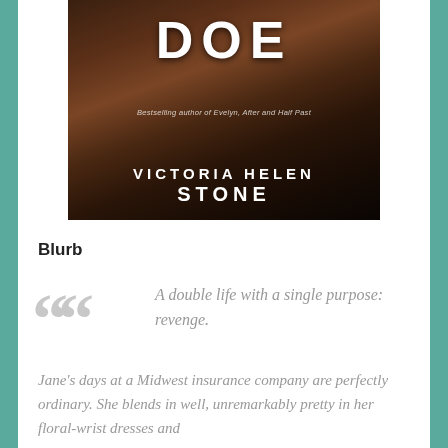[Figure (illustration): Book cover for a novel showing a dark, moody background with a partially visible face, titled 'DOE' by Victoria Helen Stone. Text reads 'Bestselling author of Evelyn, After and Half Past'. Author name: VICTORIA HELEN STONE.]
Blurb
A double life with a single purpose: revenge.
Jane's days at a Midwest insurance company are perfectly ordinary. She blends in well, unremarkably pretty in her floral-wrist dresses andette efficient at her d